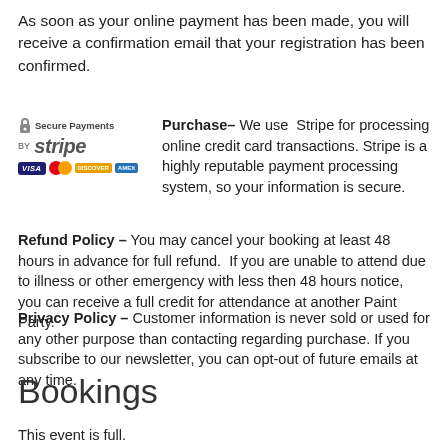As soon as your online payment has been made, you will receive a confirmation email that your registration has been confirmed.
[Figure (logo): Secure Payments by Stripe badge with Visa, Mastercard, Discover, and Amex card logos]
Purchase– We use Stripe for processing online credit card transactions. Stripe is a highly reputable payment processing system, so your information is secure. Refund Policy – You may cancel your booking at least 48 hours in advance for full refund. If you are unable to attend due to illness or other emergency with less then 48 hours notice, you can receive a full credit for attendance at another Paint Party. Privacy Policy – Customer information is never sold or used for any other purpose than contacting regarding purchase. If you subscribe to our newsletter, you can opt-out of future emails at any time.
Bookings
This event is full.